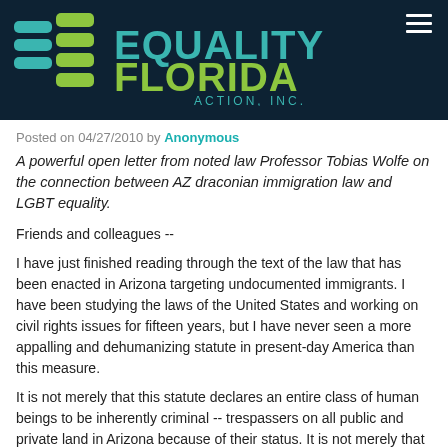[Figure (logo): Equality Florida Action, Inc. logo with teal and green wave shapes on dark navy background]
Posted on 04/27/2010 by Anonymous
A powerful open letter from noted law Professor Tobias Wolfe on the connection between AZ draconian immigration law and LGBT equality.
Friends and colleagues --
I have just finished reading through the text of the law that has been enacted in Arizona targeting undocumented immigrants. I have been studying the laws of the United States and working on civil rights issues for fifteen years, but I have never seen a more appalling and dehumanizing statute in present-day America than this measure.
It is not merely that this statute declares an entire class of human beings to be inherently criminal -- trespassers on all public and private land in Arizona because of their status. It is not merely that the law requires police and other law enforcement agents in